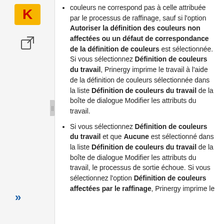[Figure (logo): Kodak logo — yellow/orange square with stylized K in red]
[Figure (other): External link icon (square with arrow pointing out)]
couleurs ne correspond pas à celle attribuée par le processus de raffinage, sauf si l'option Autoriser la définition des couleurs non affectées ou un défaut de correspondance de la définition de couleurs est sélectionnée. Si vous sélectionnez Définition de couleurs du travail, Prinergy imprime le travail à l'aide de la définition de couleurs sélectionnée dans la liste Définition de couleurs du travail de la boîte de dialogue Modifier les attributs du travail.
Si vous sélectionnez Définition de couleurs du travail et que Aucune est sélectionné dans la liste Définition de couleurs du travail de la boîte de dialogue Modifier les attributs du travail, le processus de sortie échoue. Si vous sélectionnez l'option Définition de couleurs affectées par le raffinage, Prinergy imprime le